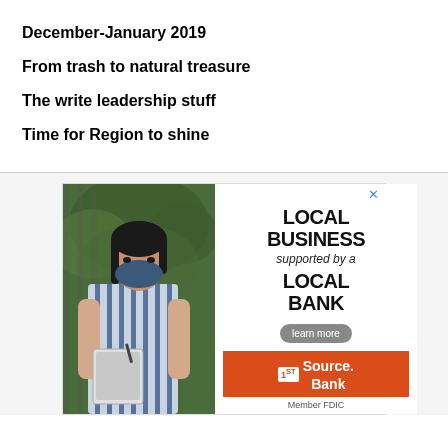December-January 2019
From trash to natural treasure
The write leadership stuff
Time for Region to shine
[Figure (photo): Advertisement for 1st Source Bank showing a masked woman in a striped apron holding a tablet, with text 'LOCAL BUSINESS supported by a LOCAL BANK' and a 'learn more' button. Includes 1st Source Bank logo and Member FDIC text.]